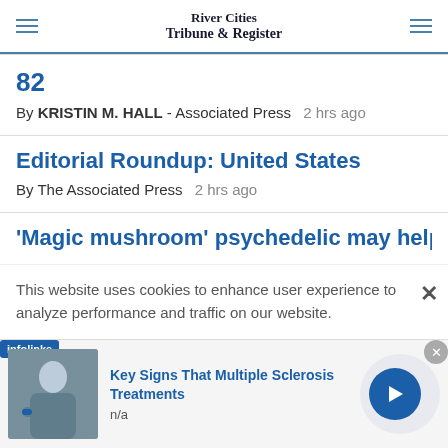River Cities Tribune & Register
82
By KRISTIN M. HALL - Associated Press  2 hrs ago
Editorial Roundup: United States
By The Associated Press  2 hrs ago
'Magic mushroom' psychedelic may help heavy
This website uses cookies to enhance user experience to analyze performance and traffic on our website.
[Figure (infographic): Infolinks advertisement banner for 'Key Signs That Multiple Sclerosis Treatments' with a photo of a person and a blue arrow button]
Key Signs That Multiple Sclerosis Treatments
n/a